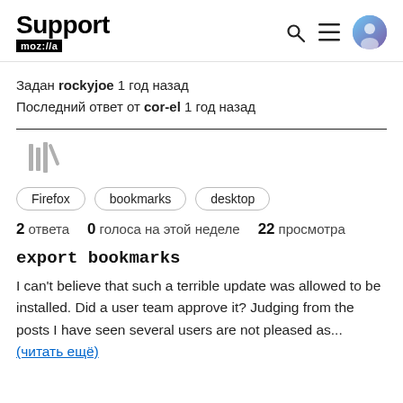Support mozilla
Задан rockyjoe 1 год назад
Последний ответ от cor-el 1 год назад
[Figure (illustration): Bookmark/library icon in grey]
Firefox   bookmarks   desktop
2 ответа  0 голоса на этой неделе  22 просмотра
export bookmarks
I can't believe that such a terrible update was allowed to be installed. Did a user team approve it? Judging from the posts I have seen several users are not pleased as... (читать ещё)